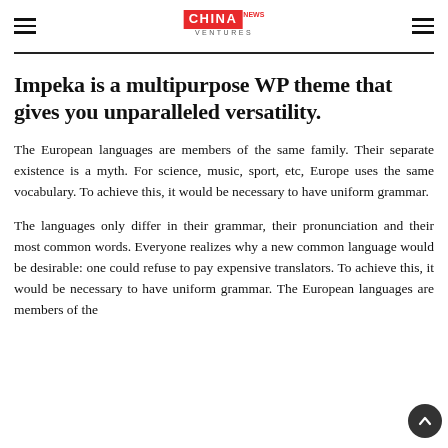CHINA VENTURES [logo]
Impeka is a multipurpose WP theme that gives you unparalleled versatility.
The European languages are members of the same family. Their separate existence is a myth. For science, music, sport, etc, Europe uses the same vocabulary. To achieve this, it would be necessary to have uniform grammar.
The languages only differ in their grammar, their pronunciation and their most common words. Everyone realizes why a new common language would be desirable: one could refuse to pay expensive translators. To achieve this, it would be necessary to have uniform grammar. The European languages are members of the